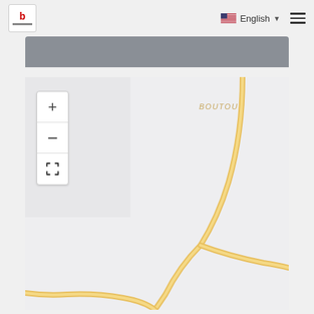b  English  ≡
[Figure (map): A street map showing the area near Boutou. The map background is light gray. A road in orange/yellow color curves from the top-right, splits into two branches — one going right and one curving down and to the lower left. The label 'BOUTOU' appears in light orange italic text in the upper-right area of the map. Map controls (zoom in +, zoom out -, and fullscreen icon) are shown in a white panel on the upper-left of the map.]